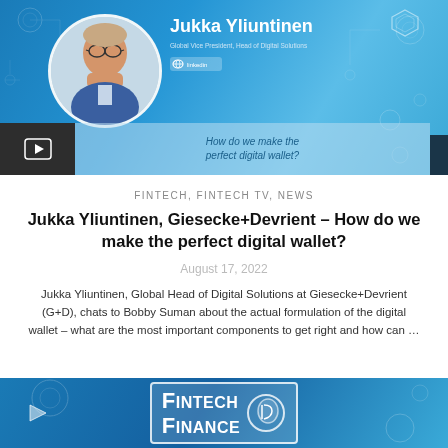[Figure (photo): Video thumbnail showing Jukka Yliuntinen, Global Vice President Head of Digital Solutions, with blue tech/circuit background and text 'How do we make the perfect digital wallet?']
FINTECH, FINTECH TV, NEWS
Jukka Yliuntinen, Giesecke+Devrient – How do we make the perfect digital wallet?
August 17, 2022
Jukka Yliuntinen, Global Head of Digital Solutions at Giesecke+Devrient (G+D), chats to Bobby Suman about the actual formulation of the digital wallet – what are the most important components to get right and how can …
[Figure (logo): Fintech Finance logo on blue background]